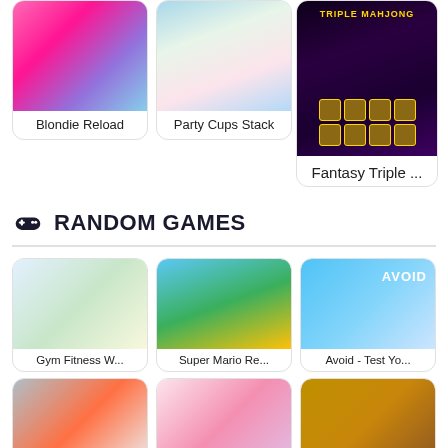[Figure (screenshot): Blondie Reload game thumbnail showing cartoon fashion characters]
Blondie Reload
[Figure (screenshot): Party Cups Stack game thumbnail showing colorful stacking cups]
Party Cups Stack
[Figure (screenshot): Fantasy Triple Mahjong game thumbnail with dark fantasy theme and tile pieces]
Fantasy Triple ...
RANDOM GAMES
[Figure (screenshot): Gym Fitness W... game thumbnail showing cartoon girl doing yoga/stretching]
Gym Fitness W...
[Figure (screenshot): Super Mario Re... game thumbnail showing Mario running]
Super Mario Re...
[Figure (screenshot): Avoid - Test Yo... game thumbnail showing stick figure dodging with AVOID text]
Avoid - Test Yo...
[Figure (screenshot): Boxing game thumbnail showing boxing gloves and punching bag]
[Figure (screenshot): Barbie-style dress up game thumbnail showing glamorous women]
[Figure (screenshot): Rally car racing game thumbnail showing off-road vehicle in desert]